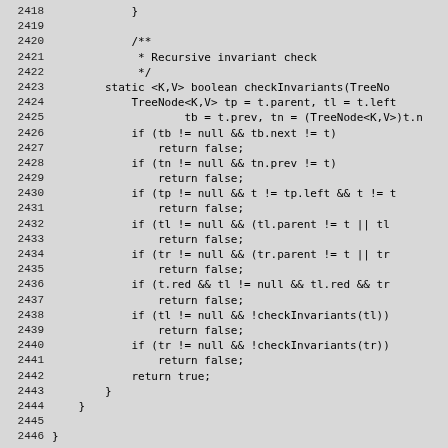Source code listing lines 2418-2446, showing a static checkInvariants method for a tree node structure in Java.